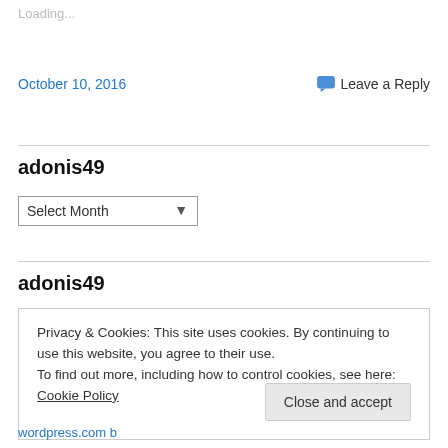Loading...
October 10, 2016
Leave a Reply
adonis49
Select Month
adonis49
Privacy & Cookies: This site uses cookies. By continuing to use this website, you agree to their use.
To find out more, including how to control cookies, see here: Cookie Policy
Close and accept
wordpress.com b